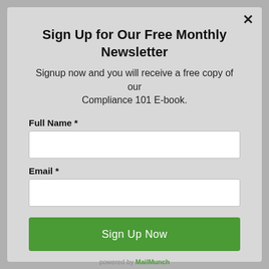Sign Up for Our Free Monthly Newsletter
Signup now and you will receive a free copy of our Compliance 101 E-book.
Full Name *
Email *
Sign Up Now
powered by MailMunch